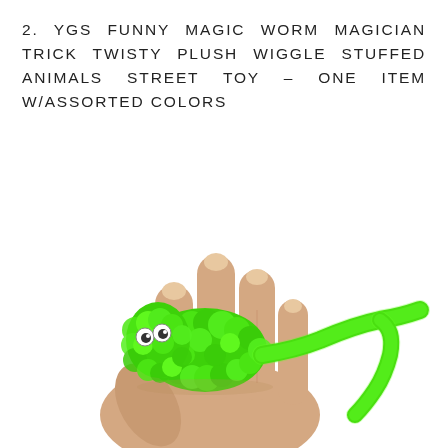2. YGS FUNNY MAGIC WORM MAGICIAN TRICK TWISTY PLUSH WIGGLE STUFFED ANIMALS STREET TOY – ONE ITEM W/ASSORTED COLORS
[Figure (photo): A hand holding a bright green fuzzy plush worm toy with small googly eyes. The worm has a large fuzzy body and a thinner tail section, resting on top of fingers against a white background.]